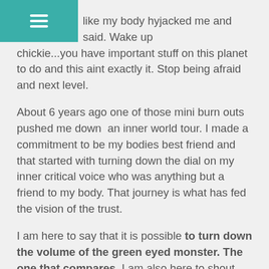☰
like my body hyjacked me and said.  Wake up chickie...you have important stuff on this planet to do and this aint exactly it.  Stop being afraid and next level.
About 6 years ago one of those mini burn outs pushed me down  an inner world tour.  I made a commitment to be my bodies best friend and that started with turning down the dial on my inner critical voice who was anything but a friend to my body.  That journey is what has fed the vision of the trust.
I am here to say that it is possible to turn down the volume of the green eyed monster.  The one that compares.  I am also here to shout from the roof that this is the equivelent of my life cellulite.   Culture teaches us to hide parts of our body that are considered "unsightly" (which is BS) Culture does the same with our life.  Well darlin this is me wearing